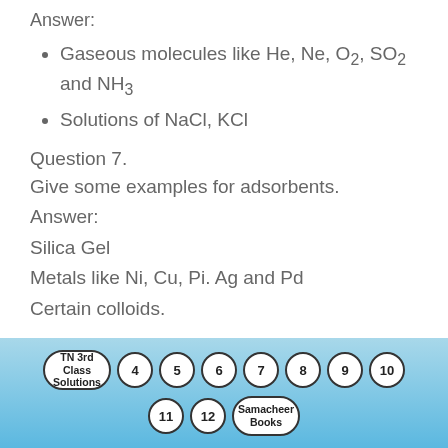Answer:
Gaseous molecules like He, Ne, O2, SO2 and NH3
Solutions of NaCl, KCl
Question 7.
Give some examples for adsorbents.
Answer:
Silica Gel
Metals like Ni, Cu, Pi. Ag and Pd
Certain colloids.
[Figure (infographic): Navigation bar with circles labeled TN 3rd Class Solutions, 4, 5, 6, 7, 8, 9, 10, 11, 12, Samacheer Books on a blue gradient background]